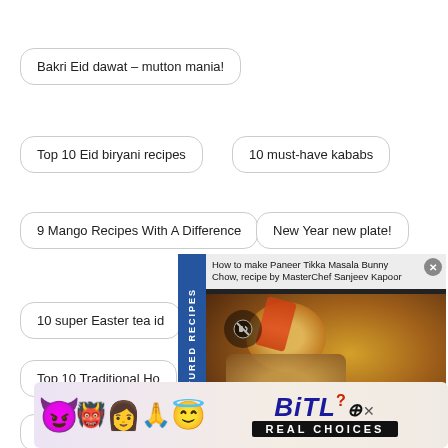Bakri Eid dawat – mutton mania!
Top 10 Eid biryani recipes
10 must-have kababs
9 Mango Recipes With A Difference
New Year new plate!
10 super Easter tea id…
Top 10 Traditional Ho…
Table for two – Day u…
[Figure (screenshot): Featured Recipes panel showing 'How to make Paneer Tikka Masala Bunny Chow, recipe by MasterChef Sanjeev Kapoor' with food photo and blue sidebar tab]
[Figure (screenshot): BitLife ad banner with emoji characters and 'REAL CHOICES' text]